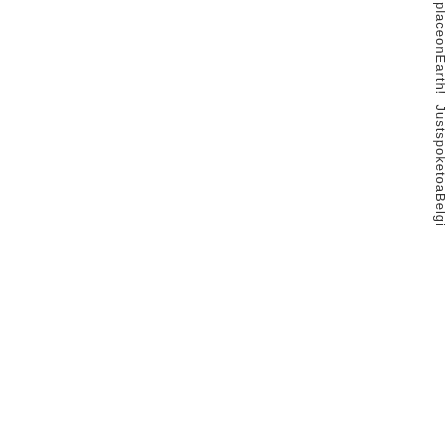[Figure (illustration): Two small badge/award icons (a blue ribbon and a gold star)]
Posts: 2154
placeonEarth! JustspoketoaBelgi